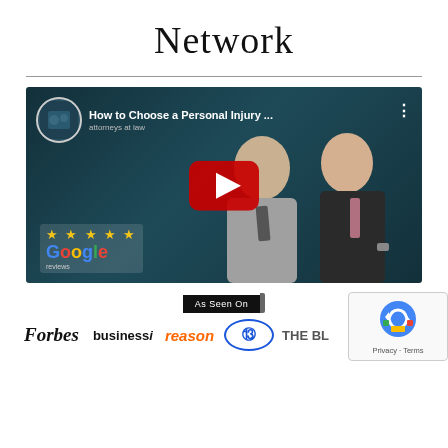Network
[Figure (screenshot): YouTube video thumbnail showing two attorneys (one older bald man in grey suit, one younger man in dark suit with pink tie) with Google 5-star review badge. Video title reads 'How to Choose a Personal Injury ...' with a red YouTube play button overlay.]
[Figure (infographic): As Seen On badge with media logos: Forbes, businessInsider, reason, 13abc, THE BL]
[Figure (other): reCAPTCHA widget showing Privacy - Terms]